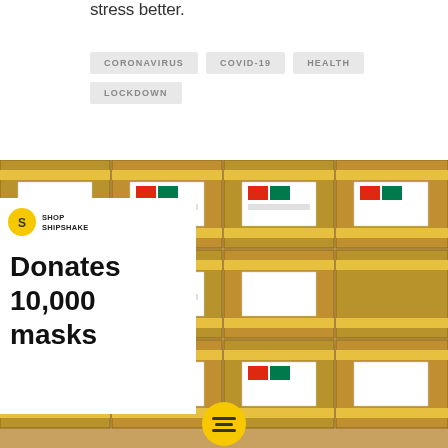stress better.
CORONAVIRUS
COVID-19
HEALTH
LOCKDOWN
[Figure (photo): Stack of cardboard boxes labeled BUFFALO with yellow stripes, featuring Chinese and South African flag donation stickers. An overlay card in the lower-left reads ShopShipShake Donates 10,000 masks with the ShopShipShake logo. A yellow circular menu button appears at the bottom center.]